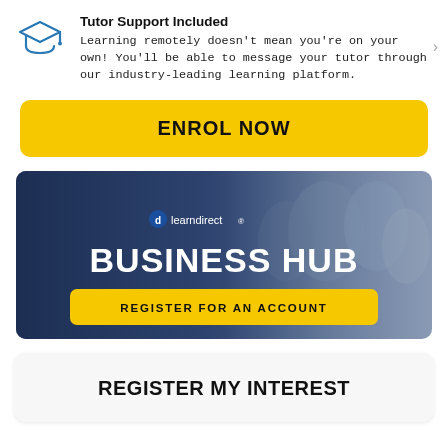Tutor Support Included
Learning remotely doesn't mean you're on your own! You'll be able to message your tutor through our industry-leading learning platform.
ENROL NOW
[Figure (infographic): learndirect Business Hub banner with people in background, showing 'BUSINESS HUB' text and 'REGISTER FOR AN ACCOUNT' yellow button]
REGISTER MY INTEREST